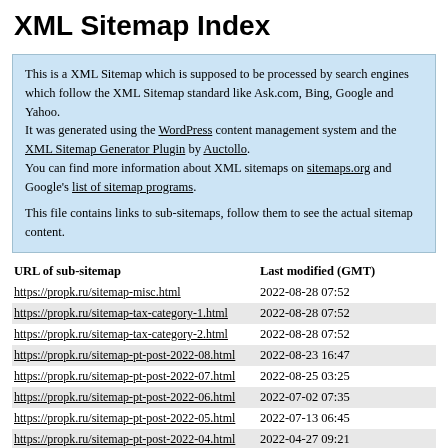XML Sitemap Index
This is a XML Sitemap which is supposed to be processed by search engines which follow the XML Sitemap standard like Ask.com, Bing, Google and Yahoo.
It was generated using the WordPress content management system and the XML Sitemap Generator Plugin by Auctollo.
You can find more information about XML sitemaps on sitemaps.org and Google's list of sitemap programs.

This file contains links to sub-sitemaps, follow them to see the actual sitemap content.
| URL of sub-sitemap | Last modified (GMT) |
| --- | --- |
| https://propk.ru/sitemap-misc.html | 2022-08-28 07:52 |
| https://propk.ru/sitemap-tax-category-1.html | 2022-08-28 07:52 |
| https://propk.ru/sitemap-tax-category-2.html | 2022-08-28 07:52 |
| https://propk.ru/sitemap-pt-post-2022-08.html | 2022-08-23 16:47 |
| https://propk.ru/sitemap-pt-post-2022-07.html | 2022-08-25 03:25 |
| https://propk.ru/sitemap-pt-post-2022-06.html | 2022-07-02 07:35 |
| https://propk.ru/sitemap-pt-post-2022-05.html | 2022-07-13 06:45 |
| https://propk.ru/sitemap-pt-post-2022-04.html | 2022-04-27 09:21 |
| https://propk.ru/sitemap-pt-post-2022-03.html | 2022-07-23 08:56 |
| https://propk.ru/sitemap-pt-post-2022-02.html | 2022-07-02 07:34 |